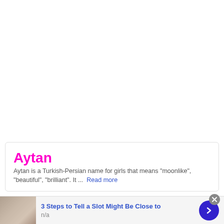Aytan
Aytan is a Turkish-Persian name for girls that means "moonlike", "beautiful", "brilliant". It ... Read more
[Figure (photo): Advertisement thumbnail showing a person in a tan jacket]
3 Steps to Tell a Slot Might Be Close to
n/a